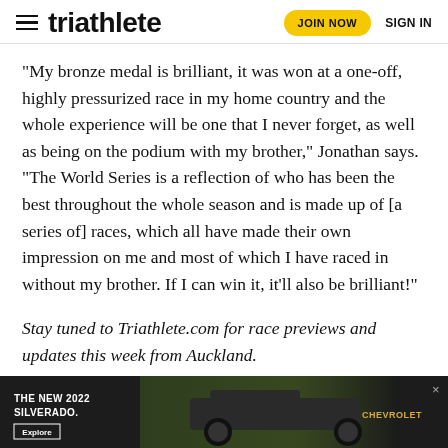triathlete | JOIN NOW | SIGN IN
“My bronze medal is brilliant, it was won at a one-off, highly pressurized race in my home country and the whole experience will be one that I never forget, as well as being on the podium with my brother,” Jonathan says. “The World Series is a reflection of who has been the best throughout the whole season and is made up of [a series of] races, which all have made their own impression on me and most of which I have raced in without my brother. If I can win it, it’ll also be brilliant!”
Stay tuned to Triathlete.com for race previews and updates this week from Auckland.
RELATED:
– Alist... Gold
– Jona...
[Figure (photo): Advertisement for The New 2022 Silverado by Chevrolet, showing a truck on a dark background with an Explore button and a close (x) button.]